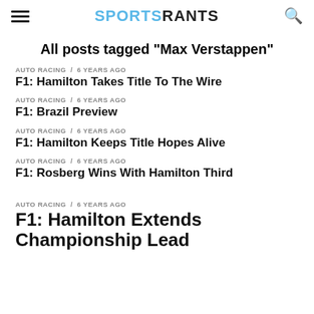SPORTSRANTS
All posts tagged "Max Verstappen"
AUTO RACING / 6 years ago
F1: Hamilton Takes Title To The Wire
AUTO RACING / 6 years ago
F1: Brazil Preview
AUTO RACING / 6 years ago
F1: Hamilton Keeps Title Hopes Alive
AUTO RACING / 6 years ago
F1: Rosberg Wins With Hamilton Third
AUTO RACING / 6 years ago
F1: Hamilton Extends Championship Lead